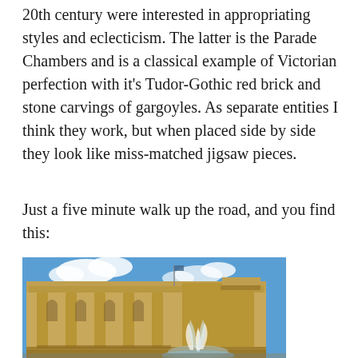20th century were interested in appropriating styles and eclecticism. The latter is the Parade Chambers and is a classical example of Victorian perfection with it's Tudor-Gothic red brick and stone carvings of gargoyles. As separate entities I think they work, but when placed side by side they look like miss-matched jigsaw pieces.
Just a five minute walk up the road, and you find this:
[Figure (photo): A neoclassical stone building with large columns and arched windows, with a fountain in the foreground and blue sky with clouds in the background.]